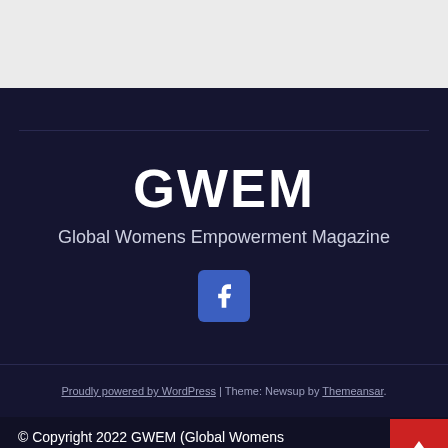[Figure (other): Gray top banner area]
GWEM
Global Womens Empowerment Magazine
[Figure (other): Facebook social media icon button (blue rounded square with Facebook 'f' logo)]
Proudly powered by WordPress | Theme: Newsup by Themeansar.
© Copyright 2022 GWEM (Global Womens Empowerment Magazine - Movement) All Rights Reserved The materials on